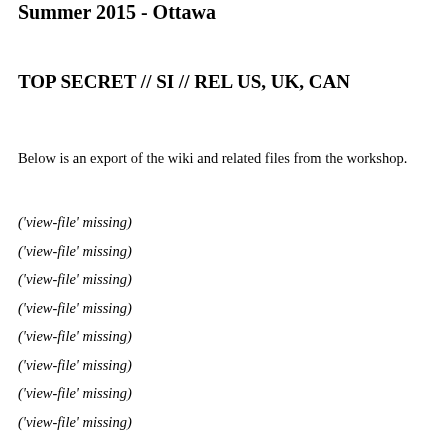Summer 2015 - Ottawa
TOP SECRET // SI // REL US, UK, CAN
Below is an export of the wiki and related files from the workshop.
('view-file' missing)
('view-file' missing)
('view-file' missing)
('view-file' missing)
('view-file' missing)
('view-file' missing)
('view-file' missing)
('view-file' missing)